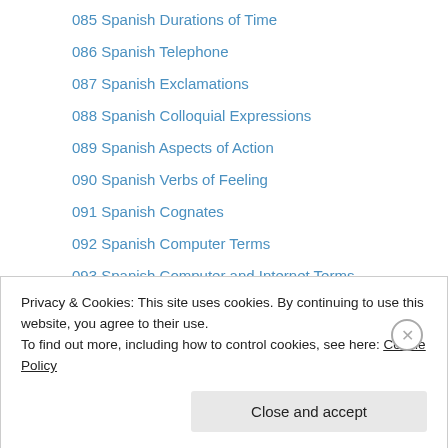085 Spanish Durations of Time
086 Spanish Telephone
087 Spanish Exclamations
088 Spanish Colloquial Expressions
089 Spanish Aspects of Action
090 Spanish Verbs of Feeling
091 Spanish Cognates
092 Spanish Computer Terms
093 Spanish Computer and Internet Terms
094 Spanish Road Signs
095 Spanish Basketball
096 American Football
097 Spanish Stores
Privacy & Cookies: This site uses cookies. By continuing to use this website, you agree to their use.
To find out more, including how to control cookies, see here: Cookie Policy
Close and accept